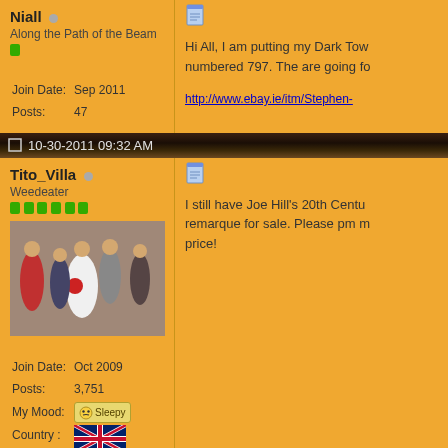Niall (online indicator)
Along the Path of the Beam
Join Date: Sep 2011
Posts: 47
[Figure (screenshot): Message/post icon (blue document icon)]
Hi All, I am putting my Dark Tow... numbered 797. The are going fo...
http://www.ebay.ie/itm/Stephen-...
10-30-2011 09:32 AM
Tito_Villa (online indicator)
Weedeater
[Figure (photo): Group photo of people at what appears to be a wedding, bride in white dress with bouquet, guests in formal attire outside a brick building]
Join Date: Oct 2009
Posts: 3,751
My Mood: Sleepy
Country :
[Figure (screenshot): Message/post icon (blue document icon)]
I still have Joe Hill's 20th Centu... remarque for sale. Please pm m... price!
[Figure (photo): Sleepy mood badge/icon]
[Figure (illustration): UK/British flag (Union Jack)]